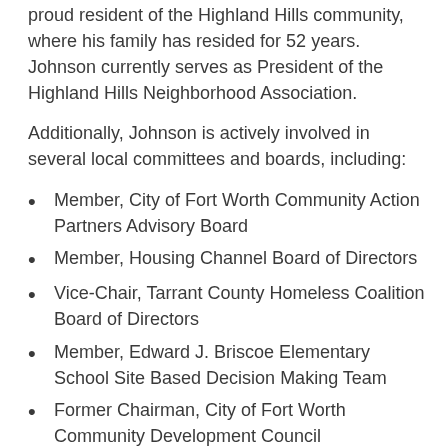proud resident of the Highland Hills community, where his family has resided for 52 years. Johnson currently serves as President of the Highland Hills Neighborhood Association.
Additionally, Johnson is actively involved in several local committees and boards, including:
Member, City of Fort Worth Community Action Partners Advisory Board
Member, Housing Channel Board of Directors
Vice-Chair, Tarrant County Homeless Coalition Board of Directors
Member, Edward J. Briscoe Elementary School Site Based Decision Making Team
Former Chairman, City of Fort Worth Community Development Council
Former Member, Tarrant County Homelessness Continuum of Care Board of Directors (Co-